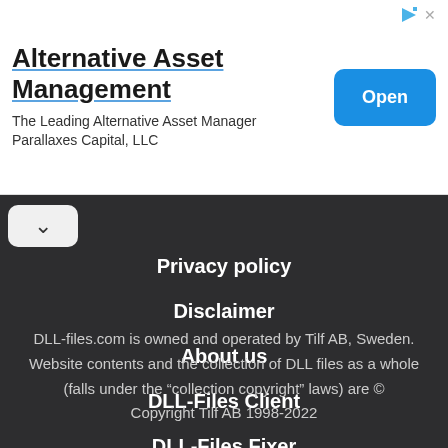[Figure (other): Advertisement banner for Alternative Asset Management by Parallaxes Capital, LLC with an Open button]
Alternative Asset Management
The Leading Alternative Asset Manager Parallaxes Capital, LLC
Privacy policy
Disclaimer
About us
DLL-Files Client
DLL-Files Fixer
DLL-files.com is owned and operated by Tilf AB, Sweden. Website contents and the collection of DLL files as a whole (falls under the “collection copyright” laws) are © Copyright Tilf AB 1998-2022